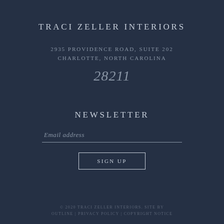TRACI ZELLER INTERIORS
2935 PROVIDENCE ROAD, SUITE 202
CHARLOTTE, NORTH CAROLINA
28211
NEWSLETTER
Email address
SIGN UP
© 2020 TRACI ZELLER INTERIORS. SITE BY OUTLINE | PRIVACY POLICY | COPYRIGHT NOTICE